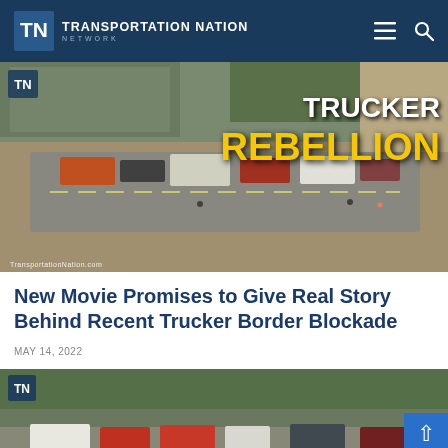Transportation Nation Network
[Figure (photo): Aerial view of trucks blocking a highway road, with overlay text reading TRUCKER REBELLION. Watermark: TransportationNation.com]
New Movie Promises to Give Real Story Behind Recent Trucker Border Blockade
MAY 14, 2022
[Figure (photo): Photo of trucks and vehicles gathered at a wooded area, with TN logo badge in corner]